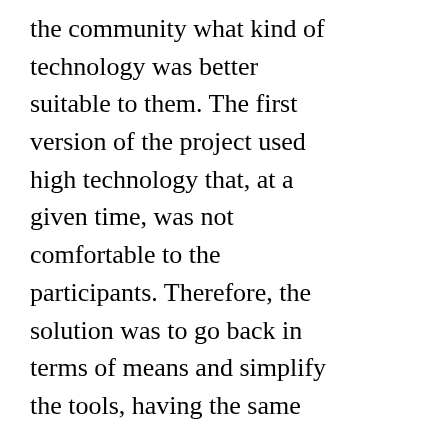the community what kind of technology was better suitable to them. The first version of the project used high technology that, at a given time, was not comfortable to the participants. Therefore, the solution was to go back in terms of means and simplify the tools, having the same